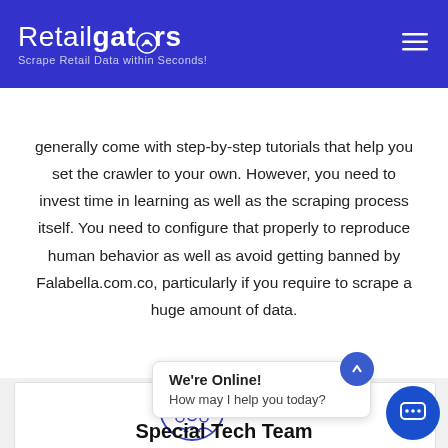Retailgators — Scrape Retail Data within Seconds!
generally come with step-by-step tutorials that help you set the crawler to your own. However, you need to invest time in learning as well as the scraping process itself. You need to configure that properly to reproduce human behavior as well as avoid getting banned by Falabella.com.co, particularly if you require to scrape a huge amount of data.
[Figure (illustration): Circular icon showing a gear/settings symbol with people figures below, outlined in blue]
We're Online!
How may I help you today?
Special Tech Team